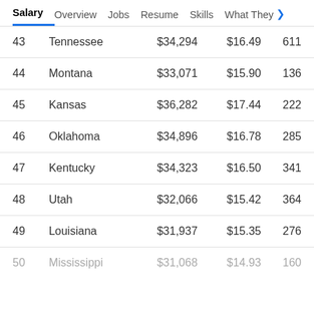Salary | Overview | Jobs | Resume | Skills | What They >
| # | State | Annual Salary | Hourly Wage | Jobs |
| --- | --- | --- | --- | --- |
| 43 | Tennessee | $34,294 | $16.49 | 611 |
| 44 | Montana | $33,071 | $15.90 | 136 |
| 45 | Kansas | $36,282 | $17.44 | 222 |
| 46 | Oklahoma | $34,896 | $16.78 | 285 |
| 47 | Kentucky | $34,323 | $16.50 | 341 |
| 48 | Utah | $32,066 | $15.42 | 364 |
| 49 | Louisiana | $31,937 | $15.35 | 276 |
| 50 | Mississippi | $31,068 | $14.93 | 160 |